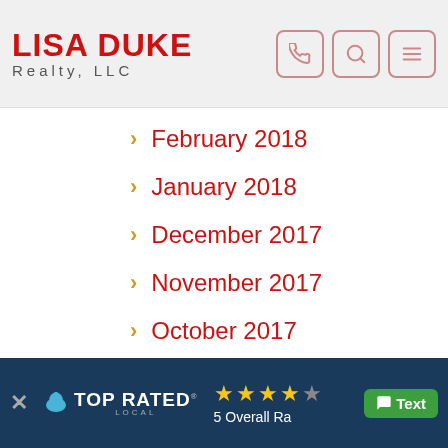LISA DUKE Realty, LLC
February 2018
January 2018
December 2017
November 2017
October 2017
September 2017
August 2017
[Figure (screenshot): Bottom banner: TOP RATED LOCAL badge with 5 stars and Overall Rating text, plus green Text button]